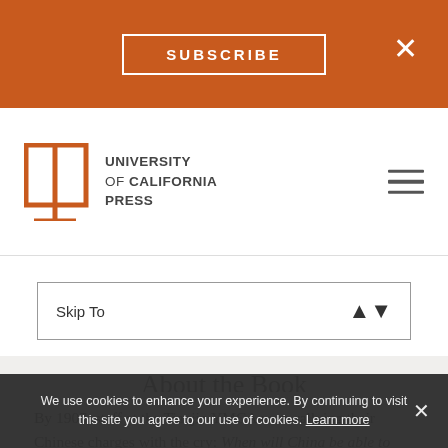SUBSCRIBE
[Figure (logo): University of California Press logo with open book icon and text]
Skip To
About the Book
By 1907, staff at the Tianjin YMCA were rallying their Chinese charges with the cry: When will China be able to send a
We use cookies to enhance your experience. By continuing to visit this site you agree to our use of cookies. Learn more